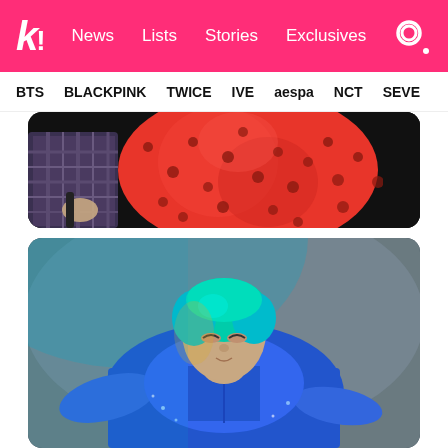k! News Lists Stories Exclusives
BTS BLACKPINK TWICE IVE aespa NCT SEVE
[Figure (photo): Close-up of a K-pop performer wearing a red polka-dot outfit, with another person in a plaid jacket visible on the left, on a dark stage background.]
[Figure (photo): K-pop performer with blue/teal hair wearing a blue outfit, looking upward with dramatic lighting on a gray stage background.]